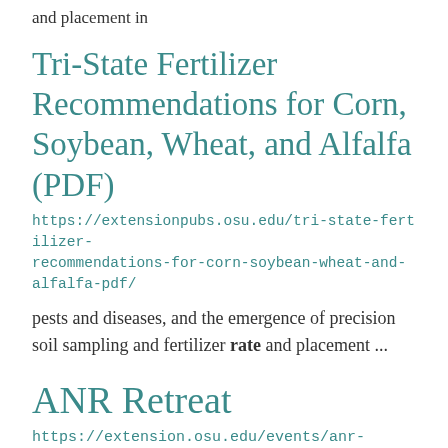and placement in
Tri-State Fertilizer Recommendations for Corn, Soybean, Wheat, and Alfalfa (PDF)
https://extensionpubs.osu.edu/tri-state-fertilizer-recommendations-for-corn-soybean-wheat-and-alfalfa-pdf/
pests and diseases, and the emergence of precision soil sampling and fertilizer rate and placement ...
ANR Retreat
https://extension.osu.edu/events/anr-retreat-0
Hampton Inn, 45 Troy Town Dr.  Troy, OH 45373. Room rates under the block